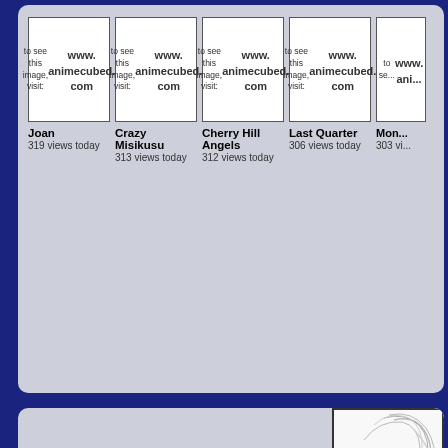[Figure (screenshot): Gallery thumbnails row showing anime image placeholders with www.animecubed.com text]
Joan
319 views today
Crazy Misikusu
313 views today
Cherry Hill Angels
312 views today
Last Quarter
306 views today
Mon...
303 vi...
[Figure (illustration): Partially visible anime character sketch/line art on right side]
Main Features
Anime In-Depth - Information on everything anime!
Sexy Anime Girls - a hot girls image gallery!